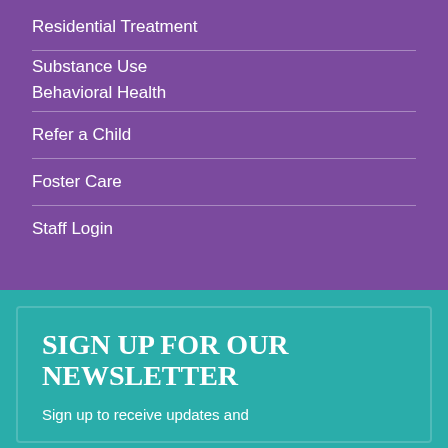Residential Treatment
Substance Use
Behavioral Health
Refer a Child
Foster Care
Staff Login
SIGN UP FOR OUR NEWSLETTER
Sign up to receive updates and